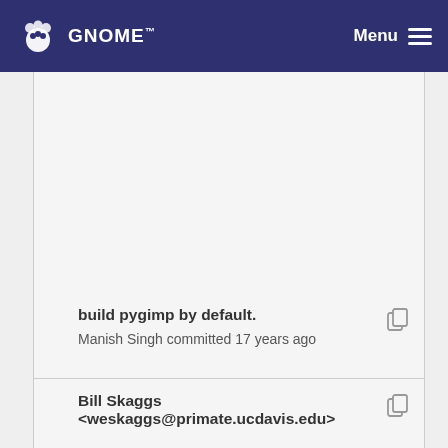GNOME  Menu
build pygimp by default.
Manish Singh committed 17 years ago
Bill Skaggs <weskaggs@primate.ucdavis.edu>